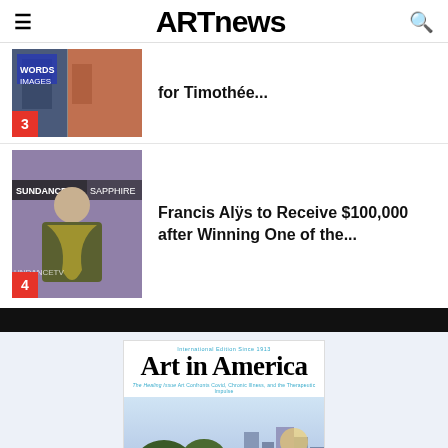ARTnews
[Figure (photo): Thumbnail image with buildings and posters, numbered 3]
for Timothée...
[Figure (photo): Man at Sundance Film Festival with Sapphire sponsor banner, numbered 4]
Francis Alÿs to Receive $100,000 after Winning One of the...
[Figure (photo): Art in America magazine cover - The Healing Issue]
Art in America — The Healing Issue: Art Confronts Covid, Chronic Illness, and the Therapeutic Impulse